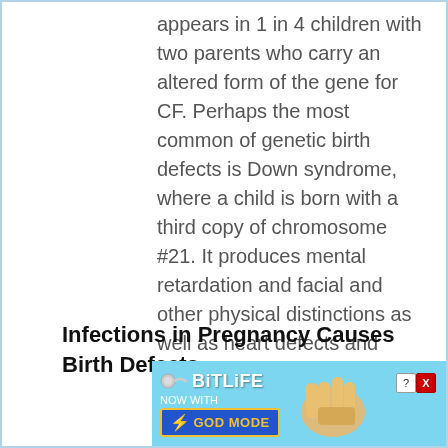appears in 1 in 4 children with two parents who carry an altered form of the gene for CF. Perhaps the most common of genetic birth defects is Down syndrome, where a child is born with a third copy of chromosome #21. It produces mental retardation and facial and other physical distinctions as well as heart defects and other health problems.
Infections in Pregnancy Causes Birth Defects
[Figure (screenshot): Advertisement banner for BitLife game with 'NOW WITH GOD MODE' text, showing BitLife logo, a hand pointing finger graphic, help and close buttons, on a light blue background.]